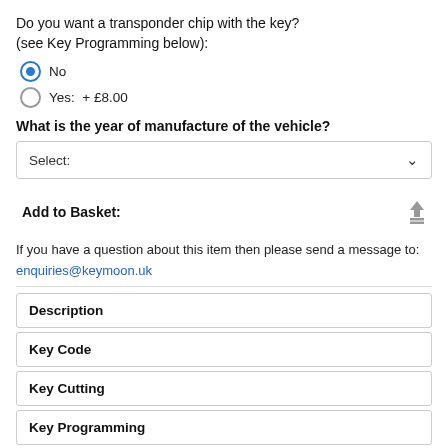Do you want a transponder chip with the key?
(see Key Programming below):
No (selected)
Yes:  + £8.00
What is the year of manufacture of the vehicle?
Select:
Add to Basket:
If you have a question about this item then please send a message to: enquiries@keymoon.uk
Description
Key Code
Key Cutting
Key Programming